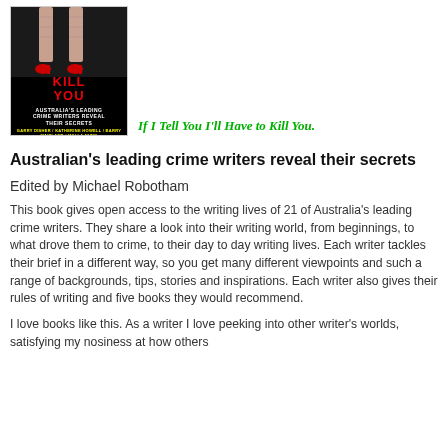[Figure (photo): Book cover of 'If I Tell You I'll Have to Kill You' — black background with red stiletto heels at top, red title text, white subtitle 'Australia's Leading Crime Writers Reveal Their Secrets', yellow author names including Garry Disher, Katherine Howell, Barry Maitland, Malla Nunn]
If I Tell You I'll Have to Kill You.
Australian's leading crime writers reveal their secrets
Edited by Michael Robotham
This book gives open access to the writing lives of 21 of Australia's leading crime writers. They share a look into their writing world, from beginnings, to what drove them to crime, to their day to day writing lives. Each writer tackles their brief in a different way, so you get many different viewpoints and such a range of backgrounds, tips, stories and inspirations. Each writer also gives their rules of writing and five books they would recommend.
I love books like this. As a writer I love peeking into other writer's worlds, satisfying my nosiness at how others